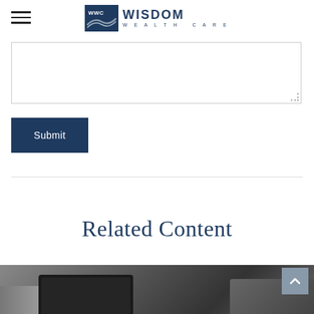WWC Wisdom Wealth Care
[Figure (other): Text area input field with resize handle]
[Figure (other): Submit button dark navy blue]
Related Content
[Figure (photo): Bottom partial photo showing a dark device/laptop on grey background]